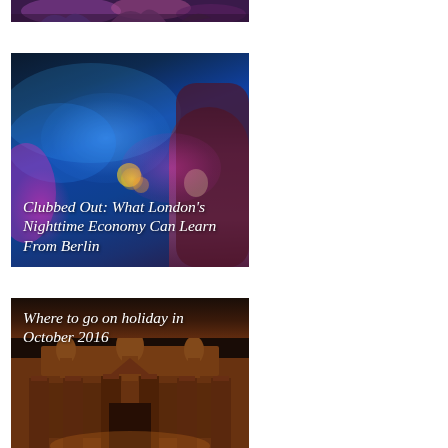[Figure (photo): Partial top of an image showing people at what appears to be a concert or nightclub event, with purple/pink tones]
[Figure (photo): Nightclub scene with blue and pink bokeh lights, a person visible in the foreground. Title overlay: 'Clubbed Out: What London's Nighttime Economy Can Learn From Berlin']
[Figure (photo): Ancient stone architecture at night with warm amber/orange lighting, appears to be Petra, Jordan. Title overlay: 'Where to go on holiday in October 2016']